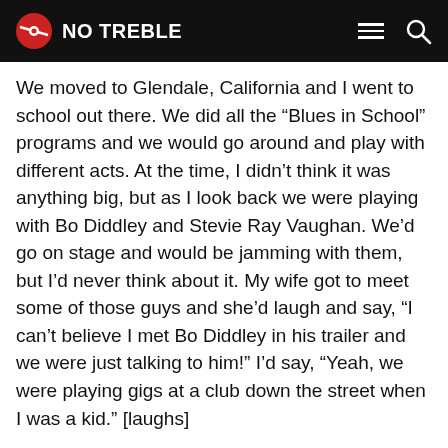NO TREBLE
We moved to Glendale, California and I went to school out there. We did all the “Blues in School” programs and we would go around and play with different acts. At the time, I didn’t think it was anything big, but as I look back we were playing with Bo Diddley and Stevie Ray Vaughan. We’d go on stage and would be jamming with them, but I’d never think about it. My wife got to meet some of those guys and she’d laugh and say, “I can’t believe I met Bo Diddley in his trailer and we were just talking to him!” I’d say, “Yeah, we were playing gigs at a club down the street when I was a kid.” [laughs]
When you’re young and you’re playing music,